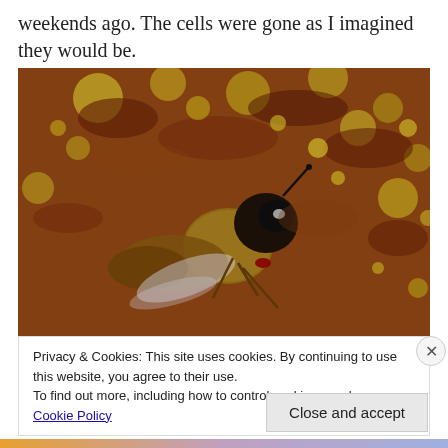weekends ago. The cells were gone as I imagined they would be.
[Figure (photo): Close-up macro photograph of a honey bee on a rusty, lichen-covered surface. The bee is shown in detail with visible compound eye, fuzzy thorax, and wings. The background is a mottled reddish-brown and yellow surface with rust and lichen texture.]
Privacy & Cookies: This site uses cookies. By continuing to use this website, you agree to their use.
To find out more, including how to control cookies, see here: Cookie Policy
Close and accept